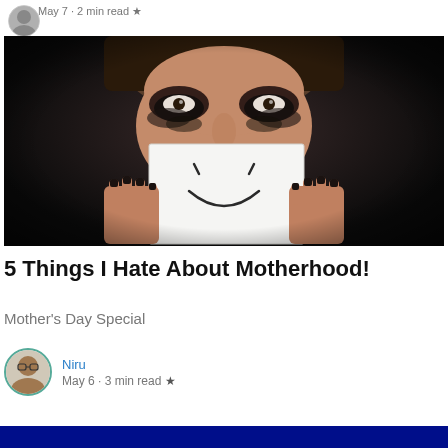May 7 · 2 min read ★
[Figure (photo): Woman with smeared dark eye makeup holding a white card with a hand-drawn smiley face in front of her mouth, against a dark background]
5 Things I Hate About Motherhood!
Mother's Day Special
Niru
May 6 · 3 min read ★